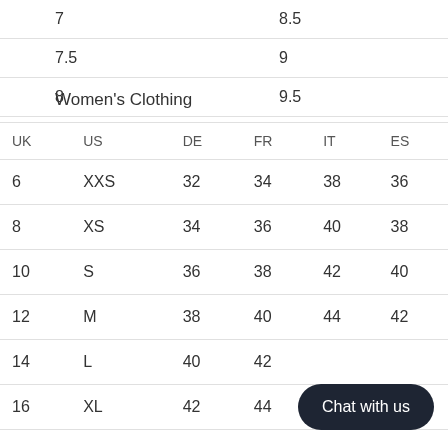| 7 | 8.5 |
| 7.5 | 9 |
| 8 | 9.5 |
Women's Clothing
| UK | US | DE | FR | IT | ES |
| --- | --- | --- | --- | --- | --- |
| 6 | XXS | 32 | 34 | 38 | 36 |
| 8 | XS | 34 | 36 | 40 | 38 |
| 10 | S | 36 | 38 | 42 | 40 |
| 12 | M | 38 | 40 | 44 | 42 |
| 14 | L | 40 | 42 |  |  |
| 16 | XL | 42 | 44 | 48 | 46 |